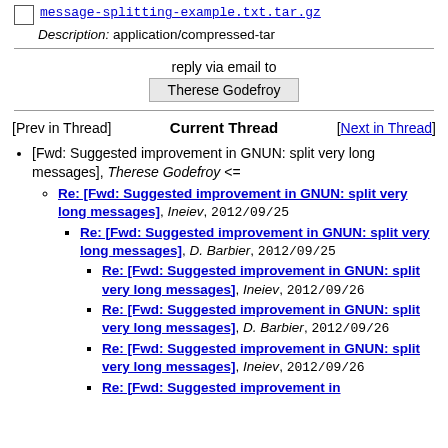message-splitting-example.txt.tar.gz
Description: application/compressed-tar
reply via email to
Therese Godefroy
[Prev in Thread]   Current Thread   [Next in Thread]
[Fwd: Suggested improvement in GNUN: split very long messages], Therese Godefroy <=
Re: [Fwd: Suggested improvement in GNUN: split very long messages], Ineiev, 2012/09/25
Re: [Fwd: Suggested improvement in GNUN: split very long messages], D. Barbier, 2012/09/25
Re: [Fwd: Suggested improvement in GNUN: split very long messages], Ineiev, 2012/09/26
Re: [Fwd: Suggested improvement in GNUN: split very long messages], D. Barbier, 2012/09/26
Re: [Fwd: Suggested improvement in GNUN: split very long messages], Ineiev, 2012/09/26
Re: [Fwd: Suggested improvement in GNUN: split very long messages]